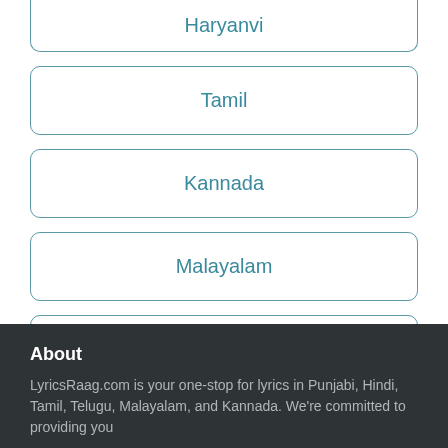Haryanvi
Tamil
Kannada
Malayalam
Urdu
Marathi
About
LyricsRaag.com is your one-stop for lyrics in Punjabi, Hindi, Tamil, Telugu, Malayalam, and Kannada. We're committed to providing you